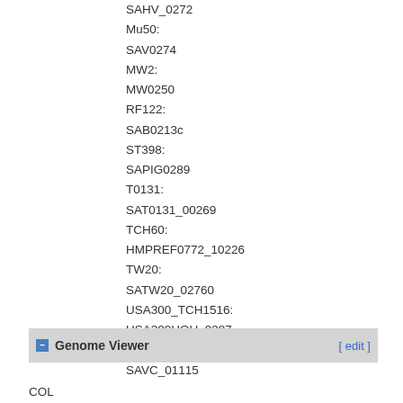SAHV_0272
Mu50:
SAV0274
MW2:
MW0250
RF122:
SAB0213c
ST398:
SAPIG0289
T0131:
SAT0131_00269
TCH60:
HMPREF0772_10226
TW20:
SATW20_02760
USA300_TCH1516:
USA300HOU_0287
VC40:
SAVC_01115
Genome Viewer
COL